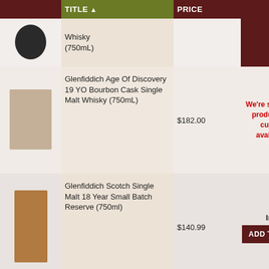|  | TITLE ▲ | PRICE |  |
| --- | --- | --- | --- |
| [image] | Whisky (750mL) |  |  |
| [image] | Glenfiddich Age Of Discovery 19 YO Bourbon Cask Single Malt Whisky (750mL) | $182.00 | We're sorry, but this product is currently not available. |
| [image] | Glenfiddich Scotch Single Malt 18 Year Small Batch Reserve (750ml) | $140.99 | In stock | ADD TO CART |
| [image] | Glenfiddich Scotch Single | $649.99 | In stock |